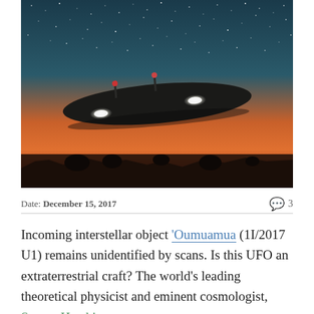[Figure (illustration): A dark elongated UFO/spacecraft hovering against a twilight sky with stars, with two antenna-like protrusions on top and two glowing white oval lights on its underside. The background shows a gradient from deep teal starry sky to orange-red sunset horizon, with dark silhouetted landscape at the bottom.]
Date: December 15, 2017   💬 3
Incoming interstellar object 'Oumuamua (1I/2017 U1) remains unidentified by scans. Is this UFO an extraterrestrial craft? The world's leading theoretical physicist and eminent cosmologist, Steven Hawking,